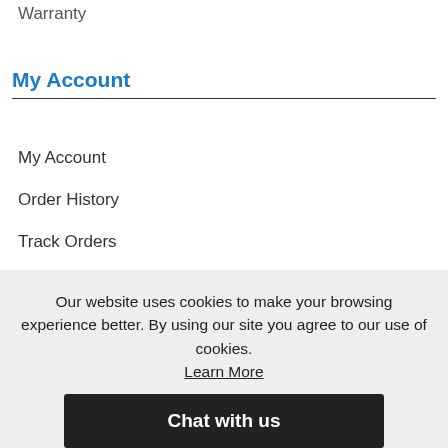Warranty
My Account
My Account
Order History
Track Orders
Address Book
Our website uses cookies to make your browsing experience better. By using our site you agree to our use of cookies. Learn More
Chat with us